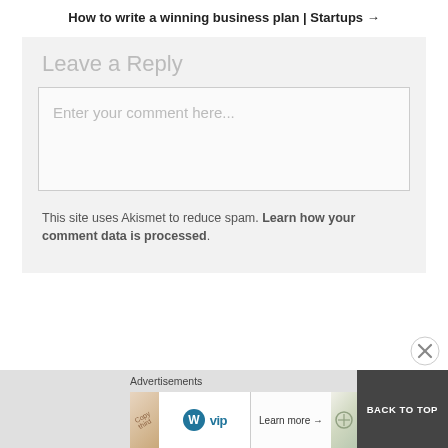How to write a winning business plan | Startups →
Leave a Reply
Enter your comment here...
This site uses Akismet to reduce spam. Learn how your comment data is processed.
Advertisements
[Figure (screenshot): Advertisement banner with WordPress VIP logo and social media cards image, with Learn more button and close button]
BACK TO TOP